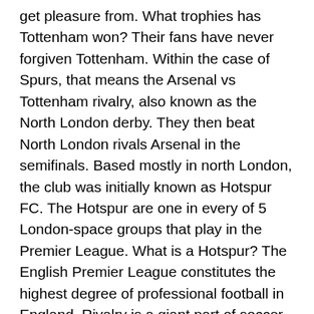get pleasure from. What trophies has Tottenham won? Their fans have never forgiven Tottenham. Within the case of Spurs, that means the Arsenal vs Tottenham rivalry, also known as the North London derby. They then beat North London rivals Arsenal in the semifinals. Based mostly in north London, the club was initially known as Hotspur FC. The Hotspur are one in every of 5 London-space groups that play in the Premier League. What is a Hotspur? The English Premier League constitutes the highest degree of professional football in England. Rivalry is a giant part of soccer because followers at all times wish to beat certain groups way over others. The Premier League in its current format, comprising 20 clubs, was formed in 1992, breaking away from the Soccer League, which was originally founded in 1888. Amongst the so-known as “Big-Five” leagues in Europe, which include the highest-tier soccer leagues of England, Spain, Italy, Germany and France, the Premier League generates the highest